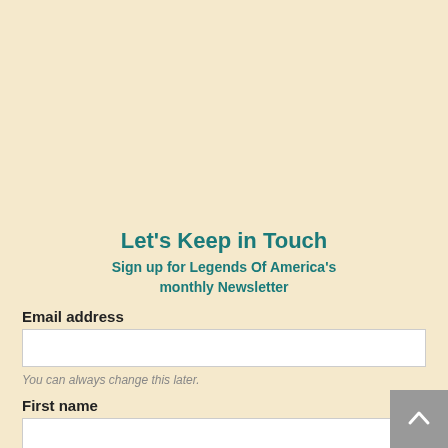Let's Keep in Touch
Sign up for Legends Of America's monthly Newsletter
Email address
You can always change this later.
First name
This is a double opt-in subscription.